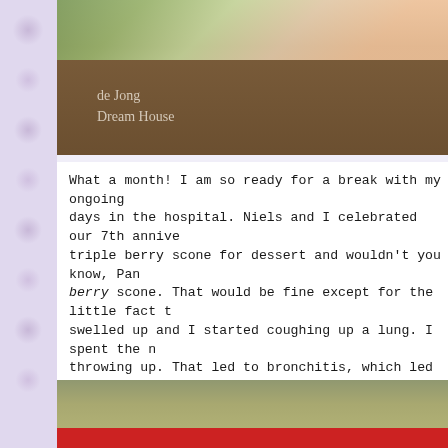[Figure (photo): Top partial image showing decorative floral elements at top and brown background with text 'de Jong Dream House' overlaid]
What a month! I am so ready for a break with my ongoing days in the hospital. Niels and I celebrated our 7th annive triple berry scone for dessert and wouldn't you know, Pan berry scone. That would be fine except for the little fact t swelled up and I started coughing up a lung. I spent the n throwing up. That led to bronchitis, which led to pneumo hospital to get everything settled down again. Some anni
In better news, I did get a few things done. I finished my f before Niels and I got married were moving out of state. I before they left. Here in Ohio, nothing epitomizes our sta based on the trademark Ohio State helmet.
[Figure (photo): Bottom partial photo showing what appears to be green/grey rectangular objects with a red bar at the bottom]